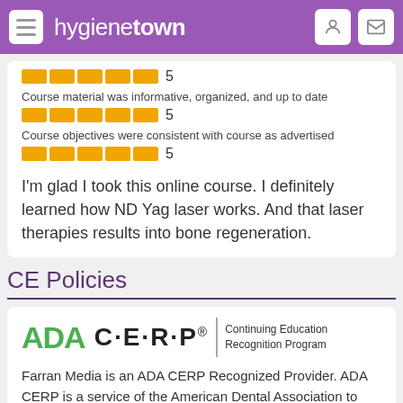hygienetown
Course material was informative, organized, and up to date
5
Course objectives were consistent with course as advertised
5
I'm glad I took this online course. I definitely learned how ND Yag laser works. And that laser therapies results into bone regeneration.
CE Policies
[Figure (logo): ADA CERP logo - Continuing Education Recognition Program]
Farran Media is an ADA CERP Recognized Provider. ADA CERP is a service of the American Dental Association to assist dental professionals in identifying quality providers of continuing dental education. ADA